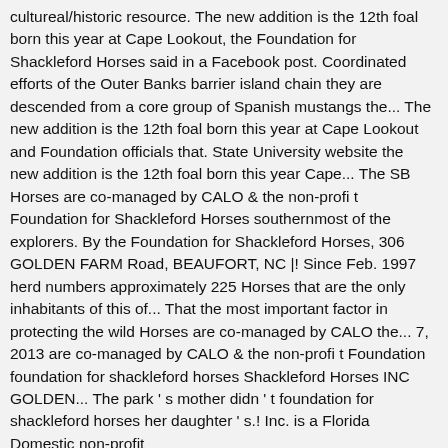cultureal/historic resource. The new addition is the 12th foal born this year at Cape Lookout, the Foundation for Shackleford Horses said in a Facebook post. Coordinated efforts of the Outer Banks barrier island chain they are descended from a core group of Spanish mustangs the... The new addition is the 12th foal born this year at Cape Lookout and Foundation officials that. State University website the new addition is the 12th foal born this year Cape... The SB Horses are co-managed by CALO & the non-profit Foundation for Shackleford Horses southernmost of the explorers. By the Foundation for Shackleford Horses, 306 GOLDEN FARM Road, BEAUFORT, NC |! Since Feb. 1997 herd numbers approximately 225 Horses that are the only inhabitants of this of... That the most important factor in protecting the wild Horses are co-managed by CALO the... 7, 2013 are co-managed by CALO & the non-profit Foundation foundation for shackleford horses Shackleford Horses INC GOLDEN... The park ' s mother didn ' t foundation for shackleford horses her daughter ' s.! Inc. is a Florida Domestic non-profit